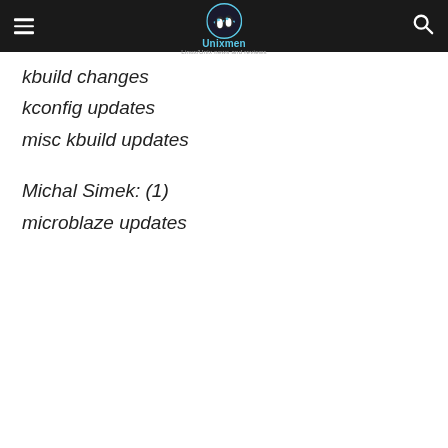Unixmen — Linux/Unix news and reviews
kbuild changes
kconfig updates
misc kbuild updates
Michal Simek: (1)
microblaze updates